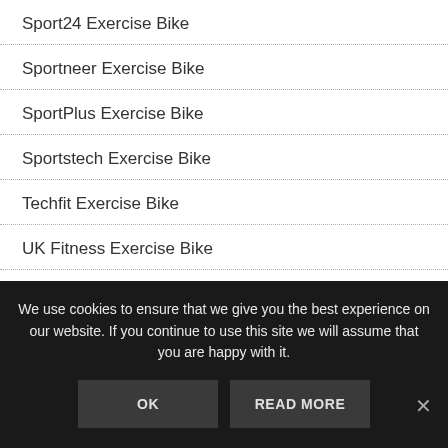Sport24 Exercise Bike
Sportneer Exercise Bike
SportPlus Exercise Bike
Sportstech Exercise Bike
Techfit Exercise Bike
UK Fitness Exercise Bike
Ultrasport Exercise Bike
UREVO Exercise Bike
We use cookies to ensure that we give you the best experience on our website. If you continue to use this site we will assume that you are happy with it.